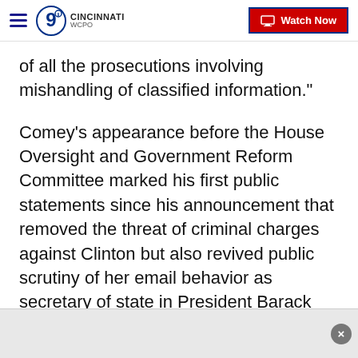WCPO 9 Cincinnati — Watch Now
of all the prosecutions involving mishandling of classified information."
Comey's appearance before the House Oversight and Government Reform Committee marked his first public statements since his announcement that removed the threat of criminal charges against Clinton but also revived public scrutiny of her email behavior as secretary of state in President Barack Obama's first term.
Committee chairman Jason Chaffetz, R-Utah, told